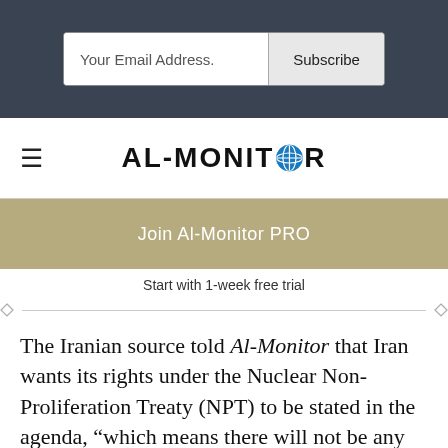[Figure (screenshot): Email subscription bar with 'Your Email Address.' input field and 'Subscribe' button on dark background]
[Figure (logo): AL-MONITOR logo with globe icon replacing the O, with hamburger menu icon on the left]
[Figure (infographic): Olive/tan colored banner button reading 'Join Al-Monitor PRO']
Start with 1-week free trial
The Iranian source told Al-Monitor that Iran wants its rights under the Nuclear Non-Proliferation Treaty (NPT) to be stated in the agenda, “which means there will not be any restriction for enrichment ...The second request is to decrease the sanctions from [the] UN not